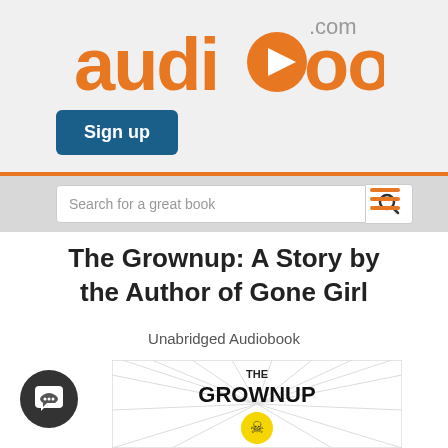[Figure (logo): audiobooks.com logo in orange with a play button icon inside the letter 'o']
Sign up
Search for a great book
The Grownup: A Story by the Author of Gone Girl
Unabridged Audiobook
[Figure (illustration): Book cover for 'The Grownup' with bold black text, radiating lines on white background, and a yellow circle with a skull figure at the bottom]